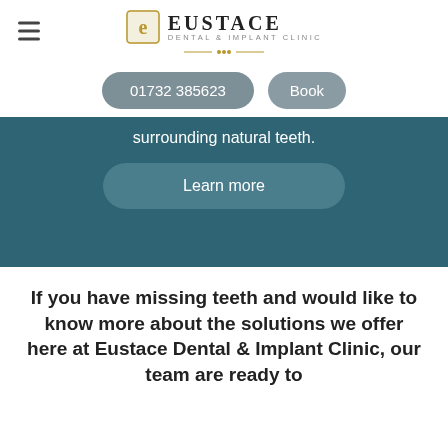Eustace Dental & Implant Clinic
01732 385623  Book
surrounding natural teeth.
Learn more
If you have missing teeth and would like to know more about the solutions we offer here at Eustace Dental & Implant Clinic, our team are ready to